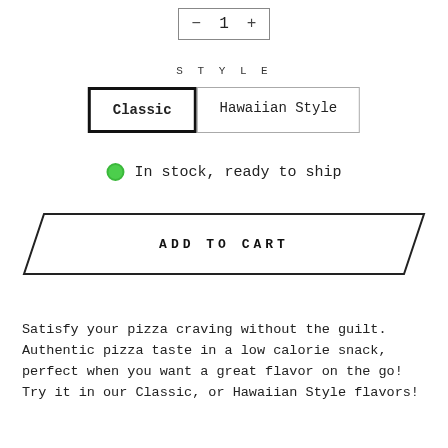[Figure (other): Quantity stepper showing minus button, number 1, and plus button inside a border box]
STYLE
[Figure (other): Two style selector buttons: 'Classic' (selected, bold border) and 'Hawaiian Style' (lighter border)]
In stock, ready to ship
[Figure (other): ADD TO CART button with parallelogram shape border]
Satisfy your pizza craving without the guilt. Authentic pizza taste in a low calorie snack, perfect when you want a great flavor on the go! Try it in our Classic, or Hawaiian Style flavors!